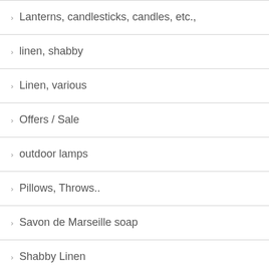Lanterns, candlesticks, candles, etc.,
linen, shabby
Linen, various
Offers / Sale
outdoor lamps
Pillows, Throws..
Savon de Marseille soap
Shabby Linen
Spring
Terracotta pots